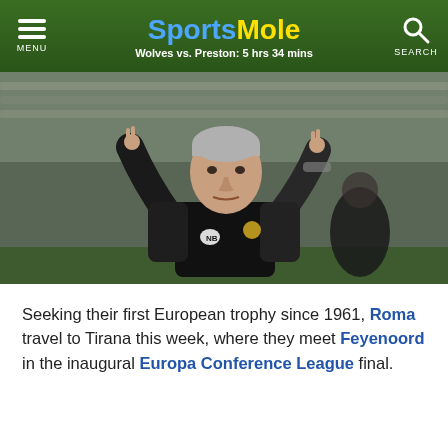SportsMole — Wolves vs. Preston: 5 hrs 34 mins
[Figure (photo): A football manager (Jose Mourinho) in a black padded vest over a dark jacket with both arms raised, pointing upward with index fingers, standing on the touchline. He has silver-grey hair. Background shows blurred stadium seating and another person in a dark coat.]
Seeking their first European trophy since 1961, Roma travel to Tirana this week, where they meet Feyenoord in the inaugural Europa Conference League final.